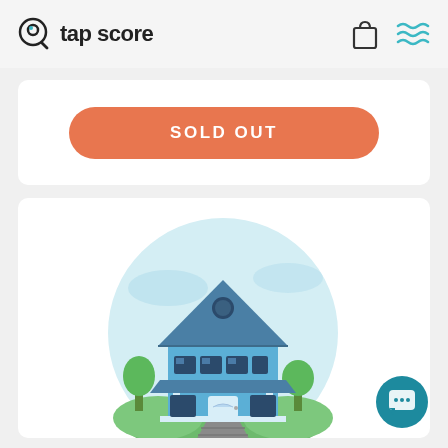tap score
SOLD OUT
[Figure (illustration): Circular illustration of a blue two-story house with a garden, pathway, and blue sky background]